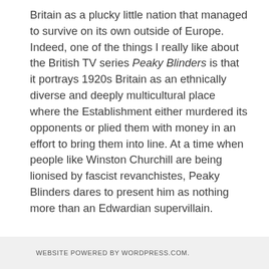Britain as a plucky little nation that managed to survive on its own outside of Europe. Indeed, one of the things I really like about the British TV series Peaky Blinders is that it portrays 1920s Britain as an ethnically diverse and deeply multicultural place where the Establishment either murdered its opponents or plied them with money in an effort to bring them into line. At a time when people like Winston Churchill are being lionised by fascist revanchistes, Peaky Blinders dares to present him as nothing more than an Edwardian supervillain.
WEBSITE POWERED BY WORDPRESS.COM.